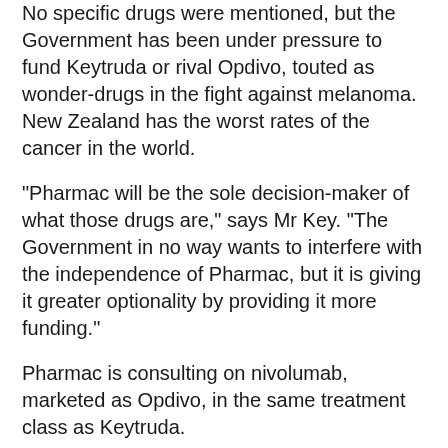No specific drugs were mentioned, but the Government has been under pressure to fund Keytruda or rival Opdivo, touted as wonder-drugs in the fight against melanoma. New Zealand has the worst rates of the cancer in the world.
"Pharmac will be the sole decision-maker of what those drugs are," says Mr Key. "The Government in no way wants to interfere with the independence of Pharmac, but it is giving it greater optionality by providing it more funding."
Pharmac is consulting on nivolumab, marketed as Opdivo, in the same treatment class as Keytruda.
Opdivo has been approved for use against melanoma by New Zealand's medicines regulator MedSafe.
"We've taken the data package for Opdivo through